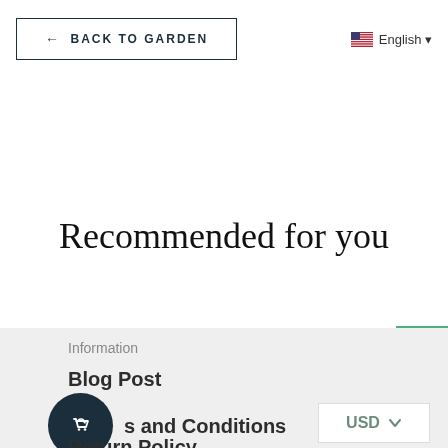← BACK TO GARDEN
English ▾
Recommended for you
Information
Blog Post
s and Conditions
USD
Return Policy